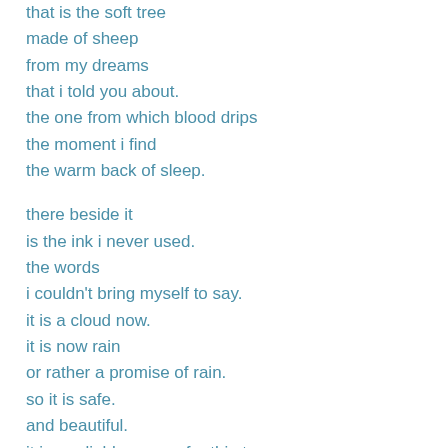that is the soft tree
made of sheep
from my dreams
that i told you about.
the one from which blood drips
the moment i find
the warm back of sleep.

there beside it
is the ink i never used.
the words
i couldn't bring myself to say.
it is a cloud now.
it is now rain
or rather a promise of rain.
so it is safe.
and beautiful.
it is a reliable source for thirst.